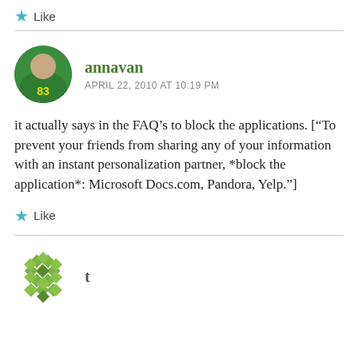Like
annavan
APRIL 22, 2010 AT 10:19 PM
it actually says in the FAQ’s to block the applications. [“To prevent your friends from sharing any of your information with an instant personalization partner, *block the application*: Microsoft Docs.com, Pandora, Yelp.”]
Like
t